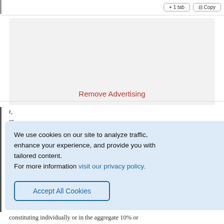[Figure (screenshot): Top navigation bar with two outline buttons (partially visible)]
[Figure (other): Gray advertisement placeholder box with red 'Remove Advertising' text link]
constituting individually or in the aggregate 10% or
We use cookies on our site to analyze traffic, enhance your experience, and provide you with tailored content.
For more information visit our privacy policy.
[Accept All Cookies button]